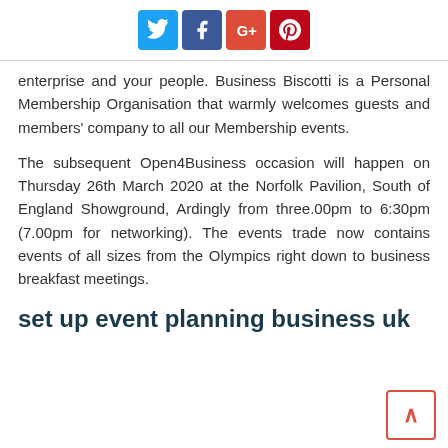[Figure (other): Social media sharing icons: Twitter (blue), Facebook (dark blue), Google+ (red), Pinterest (dark red)]
enterprise and your people. Business Biscotti is a Personal Membership Organisation that warmly welcomes guests and members' company to all our Membership events.
The subsequent Open4Business occasion will happen on Thursday 26th March 2020 at the Norfolk Pavilion, South of England Showground, Ardingly from three.00pm to 6:30pm (7.00pm for networking). The events trade now contains events of all sizes from the Olympics right down to business breakfast meetings.
set up event planning business uk